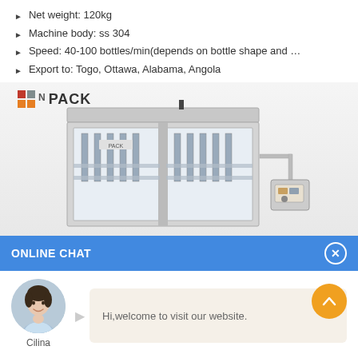Net weight: 120kg
Machine body: ss 304
Speed: 40-100 bottles/min(depends on bottle shape and …
Export to: Togo, Ottawa, Alabama, Angola
[Figure (photo): NnPACK brand industrial bottle filling machine, stainless steel body with multiple filling nozzles and a side-mounted control panel with touchscreen. Machine has transparent front panels showing internal mechanism.]
ONLINE CHAT
[Figure (photo): Avatar photo of a young woman named Cilina, wearing a light blue shirt, used as a chat support representative icon.]
Hi,welcome to visit our website.
Cilina